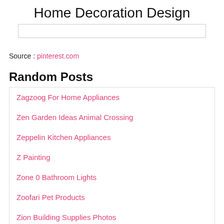Home Decoration Design
Source : pinterest.com
Random Posts
Zagzoog For Home Appliances
Zen Garden Ideas Animal Crossing
Zeppelin Kitchen Appliances
Z Painting
Zone 0 Bathroom Lights
Zoofari Pet Products
Zion Building Supplies Photos